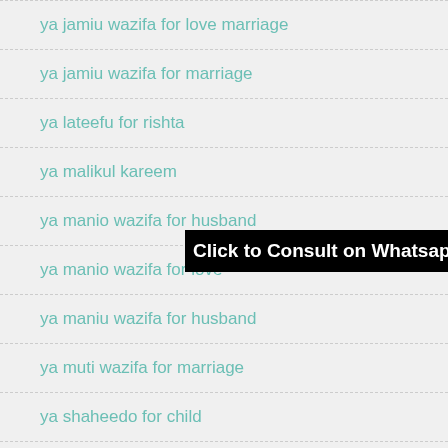ya jamiu wazifa for love marriage
ya jamiu wazifa for marriage
ya lateefu for rishta
ya malikul kareem
ya manio wazifa for husband
Click to Consult on Whatsapp
ya manio wazifa for love
ya maniu wazifa for husband
ya muti wazifa for marriage
ya shaheedo for child
ya shaheedo for husband